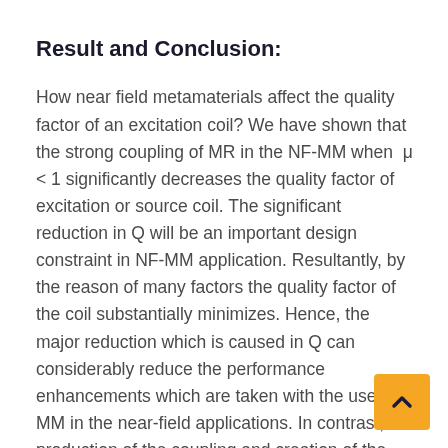Result and Conclusion:
How near field metamaterials affect the quality factor of an excitation coil? We have shown that the strong coupling of MR in the NF-MM when μ < 1 significantly decreases the quality factor of excitation or source coil. The significant reduction in Q will be an important design constraint in NF-MM application. Resultantly, by the reason of many factors the quality factor of the coil substantially minimizes. Hence, the major reduction which is caused in Q can considerably reduce the performance enhancements which are taken with the use of MM in the near-field applications. In contrast, the production of the coupling and creation of the surface waves offers to some other coils which can be receivers some more enhanced coupling in the coil surrounding area. But all this offering advantages actually at the cost of a great higher loss, are also